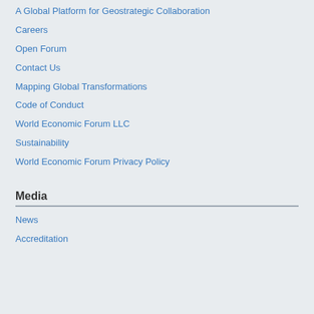A Global Platform for Geostrategic Collaboration
Careers
Open Forum
Contact Us
Mapping Global Transformations
Code of Conduct
World Economic Forum LLC
Sustainability
World Economic Forum Privacy Policy
Media
News
Accreditation